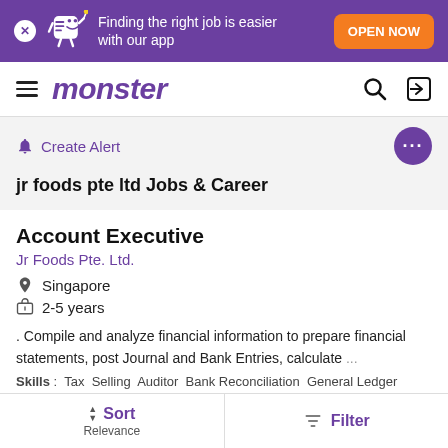[Figure (screenshot): Monster.com job search app banner with mascot and OPEN NOW button]
monster
Create Alert
jr foods pte ltd Jobs & Career
Account Executive
Jr Foods Pte. Ltd.
Singapore
2-5 years
. Compile and analyze financial information to prepare financial statements, post Journal and Bank Entries, calculate ...
Skills : Tax  Selling  Auditor  Bank Reconciliation  General Ledger
Sort Relevance | Filter